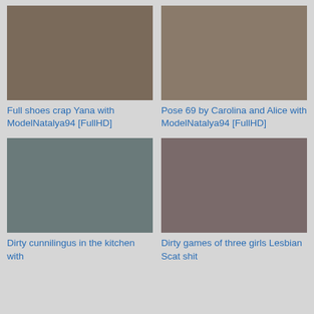[Figure (photo): Thumbnail image for 'Full shoes crap Yana with ModelNatalya94 [FullHD]']
Full shoes crap Yana with ModelNatalya94 [FullHD]
[Figure (photo): Thumbnail image for 'Pose 69 by Carolina and Alice with ModelNatalya94 [FullHD]']
Pose 69 by Carolina and Alice with ModelNatalya94 [FullHD]
[Figure (photo): Thumbnail image for 'Dirty cunnilingus in the kitchen with']
Dirty cunnilingus in the kitchen with
[Figure (photo): Thumbnail image for 'Dirty games of three girls Lesbian Scat shit']
Dirty games of three girls Lesbian Scat shit